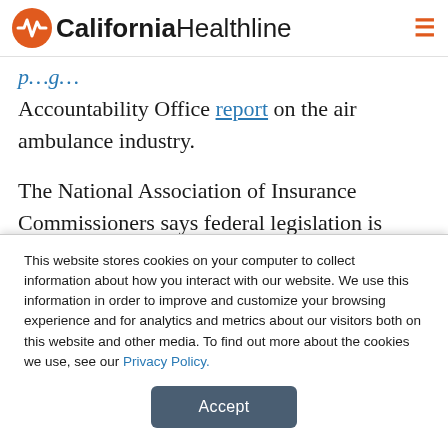California Healthline
…p…g… Accountability Office report on the air ambulance industry.
The National Association of Insurance Commissioners says federal legislation is needed so that states can intervene to oppose unreasonable air ambulance charges. Lawmakers from rural states,
This website stores cookies on your computer to collect information about how you interact with our website. We use this information in order to improve and customize your browsing experience and for analytics and metrics about our visitors both on this website and other media. To find out more about the cookies we use, see our Privacy Policy.
Accept